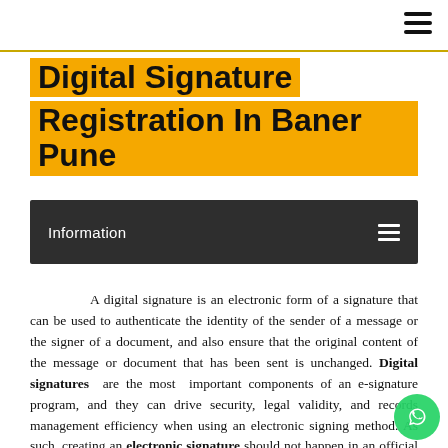Digital Signature Registration In Baner Pune
Information
A digital signature is an electronic form of a signature that can be used to authenticate the identity of the sender of a message or the signer of a document, and also ensure that the original content of the message or document that has been sent is unchanged. Digital signatures are the most important components of an e-signature program, and they can drive security, legal validity, and records management efficiency when using an electronic signing method. As such, creating an electronic signature should not happen in an official setting without the support of a digital signature. There are a lot of